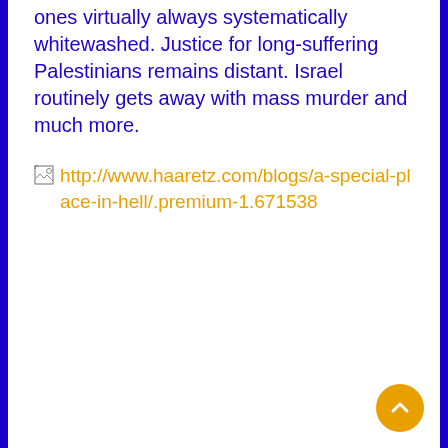ones virtually always systematically whitewashed. Justice for long-suffering Palestinians remains distant. Israel routinely gets away with mass murder and much more.
[Figure (other): Broken image link placeholder followed by URL text: http://www.haaretz.com/blogs/a-special-place-in-hell/.premium-1.671538]